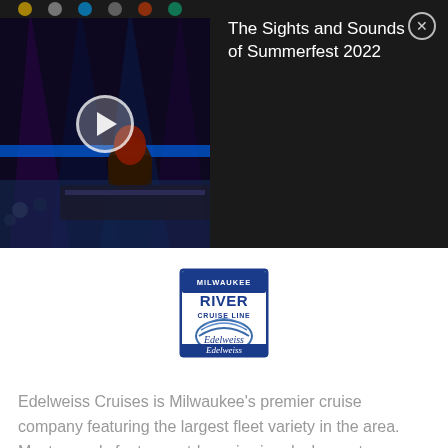[Figure (screenshot): Video thumbnail showing a concert/event (Summerfest 2022) with stage lighting, a person at a mixing board, and a play button overlay. Banner includes title 'The Sights and Sounds of Summerfest 2022' on dark background with a close (X) button.]
[Figure (logo): Milwaukee River Cruise Line - Edelweiss logo. Blue rectangular badge with globe/arc design and cursive 'Edelweiss' text.]
Edelweiss Cruises is Milwaukee's premier cruise company featuring the largest fleet variety in the area. Most vessels feature outdoor viewing decks, restrooms, interior bars, and large enclosed cabins allowing for cruising in any weather condition.